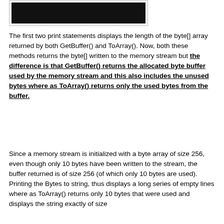[Figure (screenshot): Dark/black screenshot of a console or terminal window output]
The first two print statements displays the length of the byte[] array returned by both GetBuffer() and ToArray(). Now, both these methods returns the byte[] written to the memory stream but the difference is that GetBuffer() returns the allocated byte buffer used by the memory stream and this also includes the unused bytes where as ToArray() returns only the used bytes from the buffer.
Since a memory stream is initialized with a byte array of size 256, even though only 10 bytes have been written to the stream, the buffer returned is of size 256 (of which only 10 bytes are used). Printing the Bytes to string, thus displays a long series of empty lines where as ToArray() returns only 10 bytes that were used and displays the string exactly of size